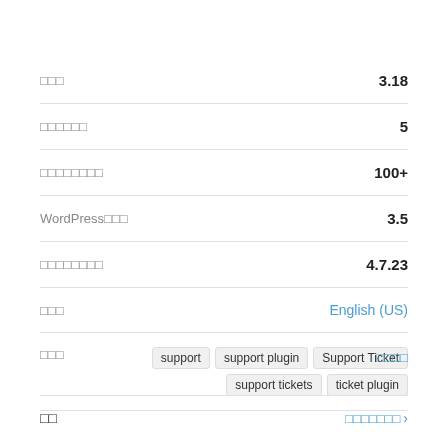| □□□ | 3.18 |
| □□□□□□ | 5 |
| □□□□□□□□ | 100+ |
| WordPress□□□ | 3.5 |
| □□□□□□□□ | 4.7.23 |
| □□□ | English (US) |
| □□□ | support  support plugin  Support Ticket  support tickets  ticket plugin |
□□□□
□□  □□□□□□□ >